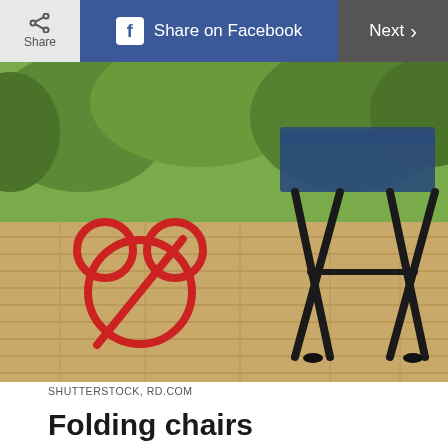Share | Share on Facebook | Next
[Figure (photo): A folding camp stool/chair on a wooden deck with green foliage background, overlaid with a red Mickey Mouse head with a no-sign (circle with diagonal slash) symbol]
SHUTTERSTOCK, RD.COM
Folding chairs
With the exception of mobility aids and cane-chairs, folding chairs are on both Disney World and Disneyland's “restricted items” lists. It would sure be nice to be able to pack a chair and sit while you wait in long lines for rides, but alas, you cannot. Instead, pass the time by breaking out some